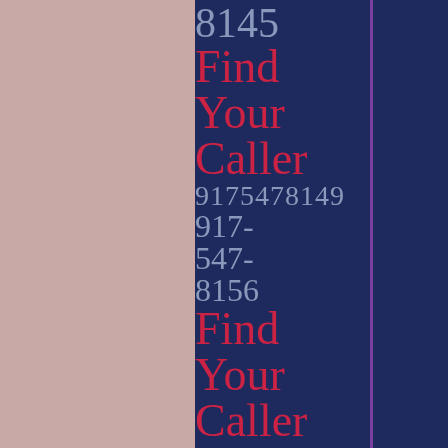8145
Find
Your
Caller
9175478149
917-
547-
8156
Find
Your
Caller
9175478156
917-
547-
8112
Find
Your